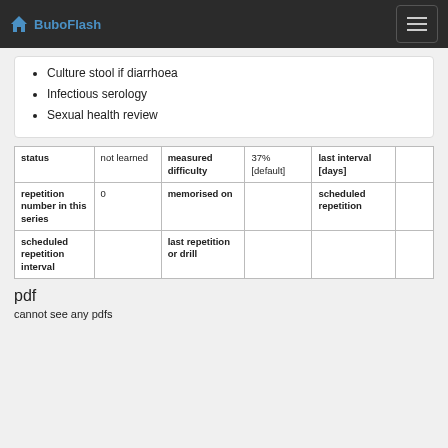BuboFlash
Culture stool if diarrhoea
Infectious serology
Sexual health review
| status | not learned | measured difficulty | 37% [default] | last interval [days] |  |
| repetition number in this series | 0 | memorised on |  | scheduled repetition |  |
| scheduled repetition interval |  | last repetition or drill |  |  |  |
pdf
cannot see any pdfs